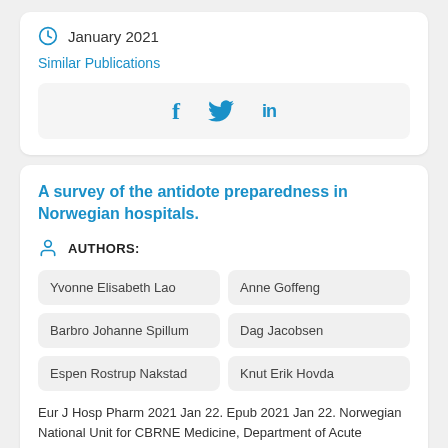January 2021
Similar Publications
[Figure (other): Social sharing icons: Facebook (f), Twitter (bird), LinkedIn (in)]
A survey of the antidote preparedness in Norwegian hospitals.
AUTHORS:
Yvonne Elisabeth Lao
Anne Goffeng
Barbro Johanne Spillum
Dag Jacobsen
Espen Rostrup Nakstad
Knut Erik Hovda
Eur J Hosp Pharm 2021 Jan 22. Epub 2021 Jan 22. Norwegian National Unit for CBRNE Medicine, Department of Acute Medicine, Oslo University Hospital,